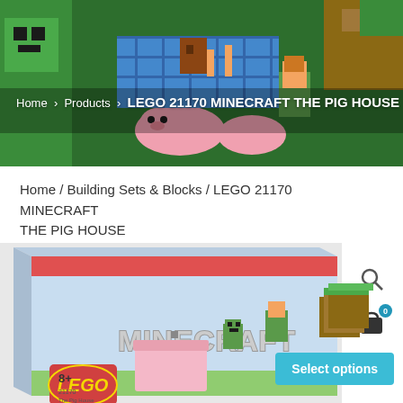[Figure (screenshot): Hero banner image showing LEGO Minecraft set with Creepers, pigs, and Alex minifigure in a colorful Minecraft-themed scene]
Home > Products > LEGO 21170 MINECRAFT THE PIG HOUSE
Home / Building Sets & Blocks / LEGO 21170 MINECRAFT THE PIG HOUSE
[Figure (photo): LEGO 21170 Minecraft The Pig House product box showing the set packaging with 8+ age rating and item number 21170]
Select options